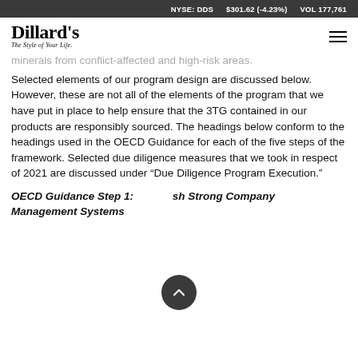NYSE: DDS   $301.62 (-4.23%)   VOL 177,761
[Figure (logo): Dillard's logo with tagline 'The Style of Your Life.']
minerals from conflict-affected and high-risk areas. Selected elements of our program design are discussed below. However, these are not all of the elements of the program that we have put in place to help ensure that the 3TG contained in our products are responsibly sourced. The headings below conform to the headings used in the OECD Guidance for each of the five steps of the framework. Selected due diligence measures that we took in respect of 2021 are discussed under “Due Diligence Program Execution.”
OECD Guidance Step 1: Establish Strong Company Management Systems